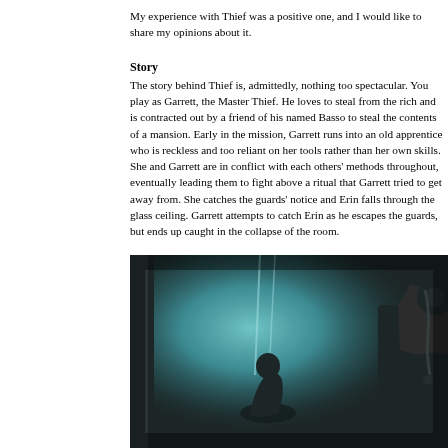My experience with Thief was a positive one, and I would like to share my opinions about it.
Story
The story behind Thief is, admittedly, nothing too spectacular. You play as Garrett, the Master Thief. He loves to steal from the rich and is contracted out by a friend of his named Basso to steal the contents of a mansion. Early in the mission, Garrett runs into an old apprentice who is reckless and too reliant on her tools rather than her own skills. She and Garrett are in conflict with each others' methods throughout, eventually leading them to fight above a ritual that Garrett tried to get away from. She catches the guards' notice and Erin falls through the glass ceiling. Garrett attempts to catch Erin as he escapes the guards, but ends up caught in the collapse of the room.
[Figure (screenshot): Screenshot from Thief game showing two silhouetted figures in a teal/cyan lit atmospheric scene, one crouching and one standing with equipment visible on the right side]